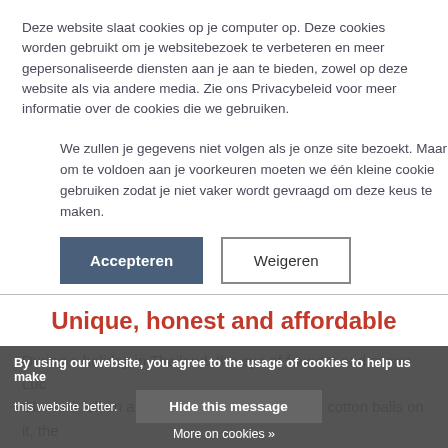Deze website slaat cookies op je computer op. Deze cookies worden gebruikt om je websitebezoek te verbeteren en meer gepersonaliseerde diensten aan je aan te bieden, zowel op deze website als via andere media. Zie ons Privacybeleid voor meer informatie over de cookies die we gebruiken.
We zullen je gegevens niet volgen als je onze site bezoekt. Maar om te voldoen aan je voorkeuren moeten we één kleine cookie gebruiken zodat je niet vaker wordt gevraagd om deze keus te maken.
Accepteren | Weigeren
Unique, honest and affordable
During a holiday in Thailand, the eye of founder and owner Luc Clement fell on a beautiful string of lights with cotton balls on it, the first seed was planned. Upon returning home, he started researching the market and so... again (2010) and our Fairtrade certified production facility, called Fairtrade ChiangMai, was established.
By using our website, you agree to the usage of cookies to help us make this website better. Hide this message More on cookies »